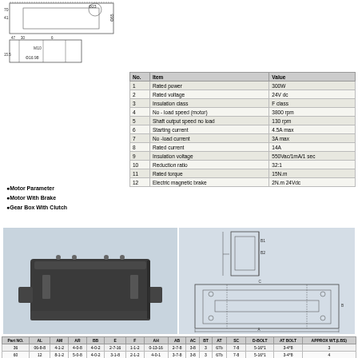[Figure (engineering-diagram): Top-view and side-view engineering dimensional drawing of a motor/gearbox unit with dimensions including Φ23, Φ65, 70, 41, 47, 30, 6, 15.5, M10, Φ16.98]
| No. | Item | Value |
| --- | --- | --- |
| 1 | Rated power | 300W |
| 2 | Rated voltage | 24V dc |
| 3 | Insulation class | F class |
| 4 | No - load speed (motor) | 3800 rpm |
| 5 | Shaft output speed no load | 130 rpm |
| 6 | Starting current | 4.5A max |
| 7 | No -load current | 3A max |
| 8 | Rated current | 14A |
| 9 | Insulation voltage | 550Vac/1mA/1 sec |
| 10 | Reduction ratio | 32:1 |
| 11 | Rated torque | 15N.m |
| 12 | Electric magnetic brake | 2N.m 24Vdc |
●Motor Parameter
●Motor With Brake
●Gear Box With Clutch
[Figure (photo): Photo of a flat rectangular black motor/gearbox unit with mounting studs/bolts]
[Figure (engineering-diagram): Side and top view engineering dimensional drawing of the gearbox/brake unit]
| Part NO. | AL | AM | AR | BB | E | F | AH | AB | AC | BT | AT | SC | D-BOLT | AT BOLT | APPROX WT.(LBS) |
| --- | --- | --- | --- | --- | --- | --- | --- | --- | --- | --- | --- | --- | --- | --- | --- |
| 36 | 06-8-8 | 4-1-2 | 4-0-8 | 4-0-2 | 2-7-16 | 1-1-2 | 0-13-16 | 2-7-8 | 3-8 | 3 | 67b | 7-8 | 5-16*1 | 3-4*8 | 3 |
| 60 | 12 | 8-1-2 | 5-0-8 | 4-0-2 | 3-1-8 | 2-1-2 | 4-0-1 | 3-7-8 | 3-8 | 3 | 67b | 7-8 | 5-16*1 | 3-4*8 | 4 |
| 100 | 06-0-2 | 7-1-2 | 4-0-8 | 5-0-2 | 2-0-4 | 2 | 0-0-4 | 3-7-8 | 3-8 | 3 | 128 | 13-16 | 5-16*1 | 3-4*8 | 4 |
| 145 | 06-0-2 | 4-1-2 | 4-0-8 | 4-0-2 | 2-0-8 | 2-1-2 | 0-0-4 | 3-7-8 | 3-8 | 3 | 128 | 13-16 | 5-16*1 | 3-4*8 | 6 |
| 180 | 12-0-4 | 4-1-2 | 5-0-2 | 4-0-2 | 3-0-4 | 2-1-4 | 4-0-4 | 4-0-4 | 1-2 | 3 | 184 | 5-1-4 | 2-8*5-0-2 | 3-2*8 | 9 |